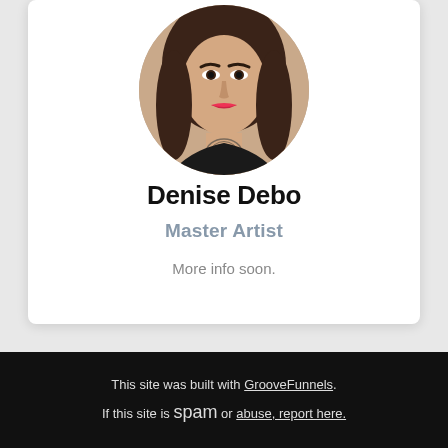[Figure (photo): Circular portrait photo of Denise Debo, a woman with dark hair, red lips, and neck tattoos]
Denise Debo
Master Artist
More info soon.
This site was built with GrooveFunnels. If this site is spam or abuse, report here.